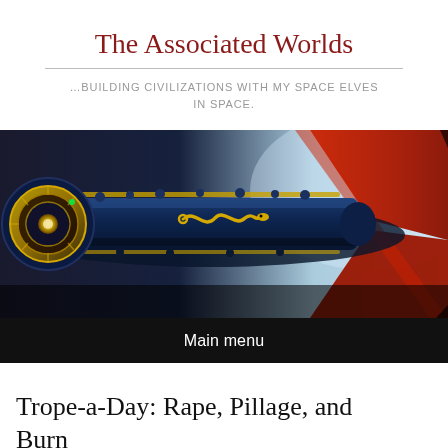The Associated Worlds
…BUILDING CIVILIZATIONS WITH MY SPACE ELVES IN SPACE.
[Figure (illustration): A sci-fi spacecraft — a long dark blue cylindrical vessel with gold snake emblem, a large golden circular engine assembly on the left, and large red X-shaped fins on the right, set against a light blue sky background.]
Main menu
Trope-a-Day: Rape, Pillage, and Burn